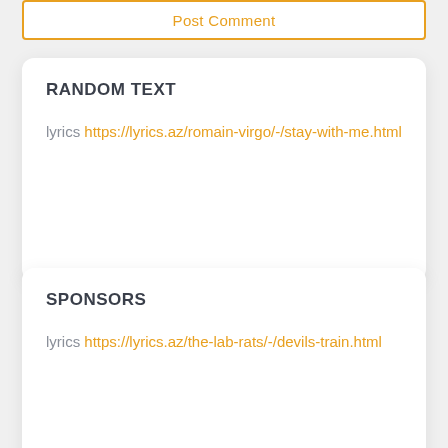Post Comment
RANDOM TEXT
lyrics https://lyrics.az/romain-virgo/-/stay-with-me.html
SPONSORS
lyrics https://lyrics.az/the-lab-rats/-/devils-train.html